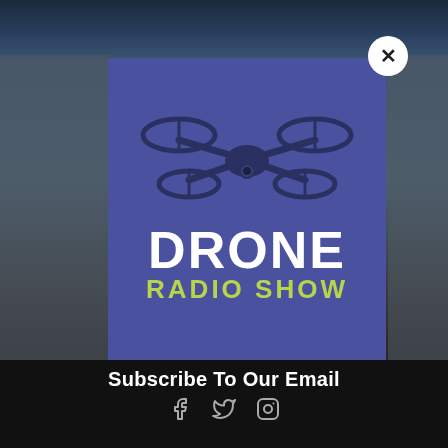[Figure (logo): Drone Radio Show logo on purple/blue modal card with drone illustration above text. White bold DRONE text and green RADIO SHOW text. Close (X) button in white circle top right.]
Subscribe To Our Email